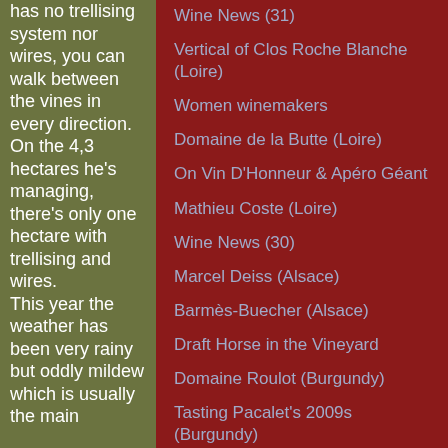has no trellising system nor wires, you can walk between the vines in every direction. On the 4,3 hectares he's managing, there's only one hectare with trellising and wires. This year the weather has been very rainy but oddly mildew which is usually the main
Wine News (31)
Vertical of Clos Roche Blanche (Loire)
Women winemakers
Domaine de la Butte (Loire)
On Vin D'Honneur & Apéro Géant
Mathieu Coste (Loire)
Wine News (30)
Marcel Deiss (Alsace)
Barmès-Buecher (Alsace)
Draft Horse in the Vineyard
Domaine Roulot (Burgundy)
Tasting Pacalet's 2009s (Burgundy)
Paris Wine Bars : Café de la Nouvelle